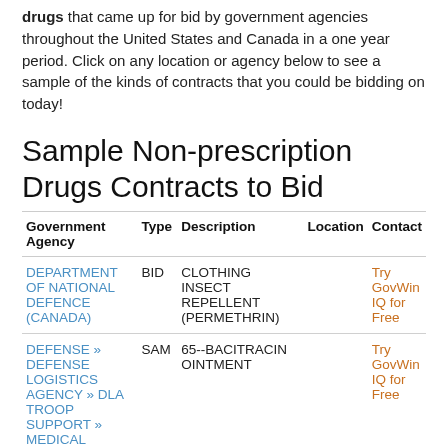drugs that came up for bid by government agencies throughout the United States and Canada in a one year period. Click on any location or agency below to see a sample of the kinds of contracts that you could be bidding on today!
Sample Non-prescription Drugs Contracts to Bid
| Government Agency | Type | Description | Location | Contact |
| --- | --- | --- | --- | --- |
| DEPARTMENT OF NATIONAL DEFENCE (CANADA) | BID | CLOTHING INSECT REPELLENT (PERMETHRIN) |  | Try GovWin IQ for Free |
| DEFENSE » DEFENSE LOGISTICS AGENCY » DLA TROOP SUPPORT » MEDICAL | SAM | 65--BACITRACIN OINTMENT |  | Try GovWin IQ for Free |